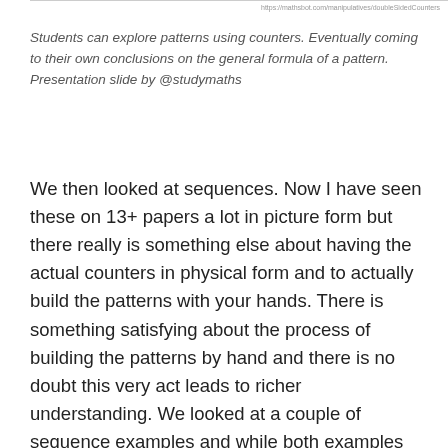https://mathsbot.com/manipulatives/doubleShidedCounters
Students can explore patterns using counters. Eventually coming to their own conclusions on the general formula of a pattern. Presentation slide by @studymaths
We then looked at sequences. Now I have seen these on 13+ papers a lot in picture form but there really is something else about having the actual counters in physical form and to actually build the patterns with your hands. There is something satisfying about the process of building the patterns by hand and there is no doubt this very act leads to richer understanding. We looked at a couple of sequence examples and while both examples were for quadratic sequences, the counters work very well with linear sequences as well. We were then shown some great examples of visual proof and probability questions using Venn diagrams. Everyone had an A4 sheet in which to make a Venn diagram and place the counters. Each application eventually leading to